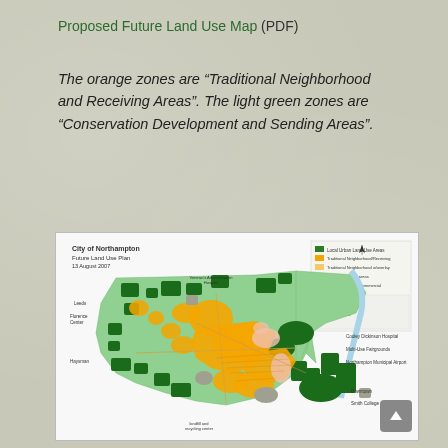Proposed Future Land Use Map (PDF)
The orange zones are “Traditional Neighborhood and Receiving Areas". The light green zones are “Conservation Development and Sending Areas".
[Figure (map): City of Northampton Future Land Use Plan map dated 13 August 2007, showing land use zones in light green (Conservation Development and Sending Areas), orange (Traditional Neighborhood and Receiving Areas), dark green, pink, and gray, with labeled landmarks including Veterans Administration Hospital, Cooley Dickinson Hospital, Multi-Use Fairgrounds, Northampton Municipal Airport, Downtown, Smith College, landfill and recycling center, Leeds, Florence Center, and Haysman.]